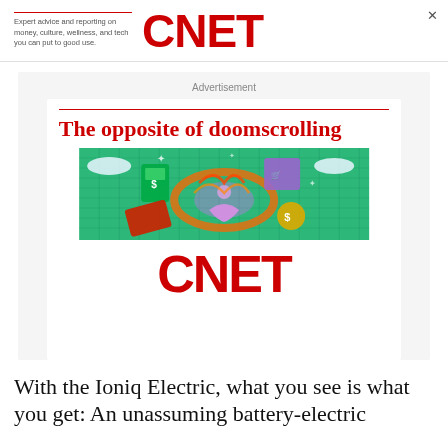Expert advice and reporting on money, culture, wellness, and tech you can put to good use. CNET
Advertisement
[Figure (illustration): CNET advertisement showing 'The opposite of doomscrolling' headline with a colorful illustration of a meditating figure surrounded by floating phones, cards, and icons on a green grid background, and the large red CNET logo below.]
With the Ioniq Electric, what you see is what you get: An unassuming battery-electric